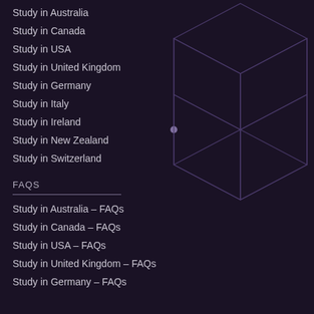Study in Australia
Study in Canada
Study in USA
Study in United Kingdom
Study in Germany
Study in Italy
Study in Ireland
Study in New Zealand
Study in Switzerland
[Figure (illustration): Isometric wireframe cube/diamond shapes rendered in purple outline on dark background]
FAQS
Study in Australia – FAQs
Study in Canada – FAQs
Study in USA – FAQs
Study in United Kingdom – FAQs
Study in Germany – FAQs